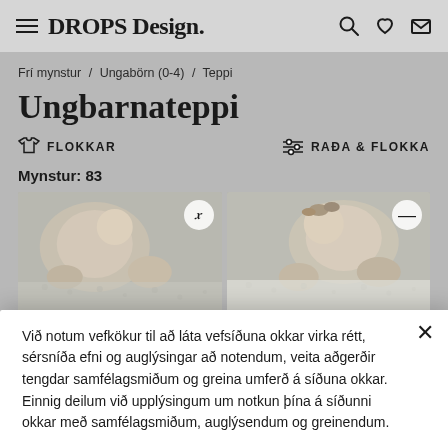DROPS Design.
Frí mynstur / Ungabörn (0-4) / Teppi
Ungbarnateppi
FLOKKAR    RAÐA & FLOKKA
Mynstur: 83
[Figure (photo): Baby lying on blanket, left photo with X badge]
[Figure (photo): Baby lying on blanket, right photo with dash badge]
Við notum vefkökur til að láta vefsíðuna okkar virka rétt, sérsníða efni og auglýsingar að notendum, veita aðgerðir tengdar samfélagsmiðum og greina umferð á síðuna okkar. Einnig deilum við upplýsingum um notkun þína á síðunni okkar með samfélagsmiðum, auglýsendum og greinendum.